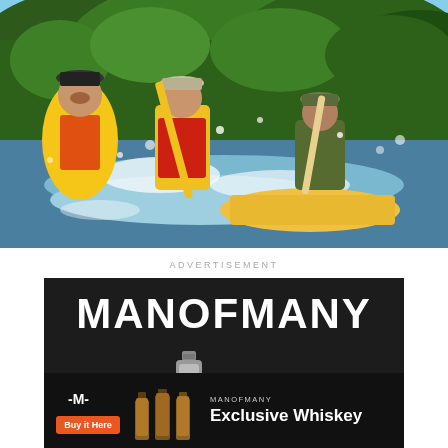[Figure (photo): Three people white water rafting on a river surrounded by green forested hills. Person on left in yellow jacket and orange life vest laughing, person in center in red life vest holding a yellow paddle, person on right in camouflage hat paddling. Water splashing around the raft.]
ADVERTISEMENT
[Figure (advertisement): Man of Many advertisement banner on black background. Large white bold text MANOFMANY at top. Below shows a product image (bottle/flask). Bottom section shows Man of Many logo with lightning bolt symbol, orange Buy it Here button, whiskey bottle images, and text MANOFMANY Exclusive Whiskey.]